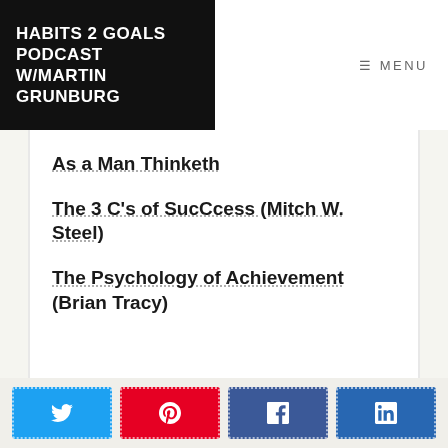HABITS 2 GOALS PODCAST W/MARTIN GRUNBURG
MENU
As a Man Thinketh
The 3 C's of SucCcess (Mitch W. Steel)
The Psychology of Achievement (Brian Tracy)
[Figure (other): Social share buttons: Twitter, Pinterest, Facebook, LinkedIn]